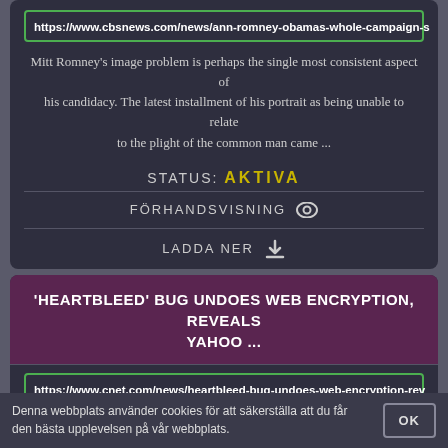https://www.cbsnews.com/news/ann-romney-obamas-whole-campaign-s
Mitt Romney's image problem is perhaps the single most consistent aspect of his candidacy. The latest installment of his portrait as being unable to relate to the plight of the common man came ...
STATUS: AKTIVA
FÖRHANDSVISNING
LADDA NER
'HEARTBLEED' BUG UNDOES WEB ENCRYPTION, REVEALS YAHOO ...
https://www.cnet.com/news/heartbleed-bug-undoes-web-encryption-rev
'Heartbleed' bug undoes Web encryption, reveals Yahoo passwords. A flaw in
Denna webbplats använder cookies för att säkerställa att du får den bästa upplevelsen på vår webbplats.
OK